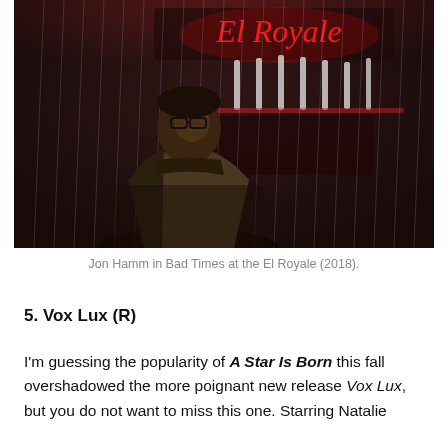[Figure (photo): Jon Hamm standing in the rain in front of the El Royale neon sign, wearing glasses and a jacket. Dark, rainy night scene from Bad Times at the El Royale (2018).]
Jon Hamm in Bad Times at the El Royale (2018).
5. Vox Lux (R)
I'm guessing the popularity of A Star Is Born this fall overshadowed the more poignant new release Vox Lux, but you do not want to miss this one. Starring Natalie